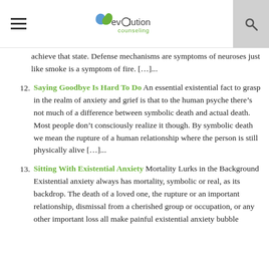[Figure (logo): Evolution Counseling logo with leaf icon and site navigation header including hamburger menu and search icon]
achieve that state. Defense mechanisms are symptoms of neuroses just like smoke is a symptom of fire. […]...
12. Saying Goodbye Is Hard To Do An essential existential fact to grasp in the realm of anxiety and grief is that to the human psyche there’s not much of a difference between symbolic death and actual death. Most people don’t consciously realize it though. By symbolic death we mean the rupture of a human relationship where the person is still physically alive […]...
13. Sitting With Existential Anxiety Mortality Lurks in the Background Existential anxiety always has mortality, symbolic or real, as its backdrop. The death of a loved one, the rupture or an important relationship, dismissal from a cherished group or occupation, or any other important loss all make painful existential anxiety bubble